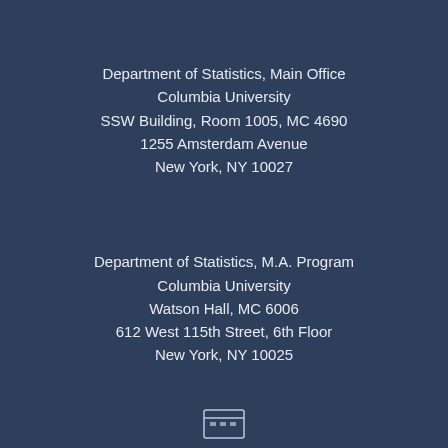Department of Statistics, Main Office
Columbia University
SSW Building, Room 1005, MC 4690
1255 Amsterdam Avenue
New York, NY 10027
Department of Statistics, M.A. Program
Columbia University
Watson Hall, MC 6006
612 West 115th Street, 6th Floor
New York, NY 10025
[Figure (logo): Small logo/emblem at the bottom center of the page]